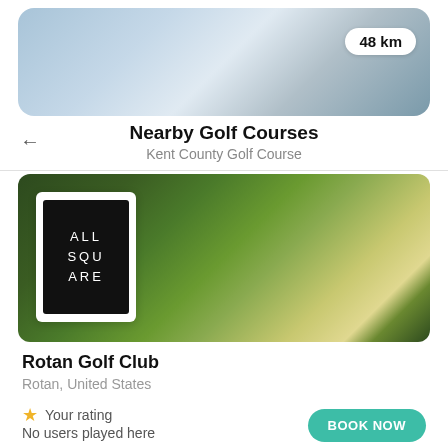[Figure (photo): Blurred outdoor banner image showing sky and landscape, with a distance badge showing 48 km in the top right corner]
48 km
Nearby Golf Courses
Kent County Golf Course
[Figure (photo): Blurred green golf course landscape image with All Square logo overlay on the left side]
[Figure (logo): All Square logo: black square with white text reading ALL SQU ARE]
Rotan Golf Club
Rotan, United States
★ Your rating
No users played here
BOOK NOW